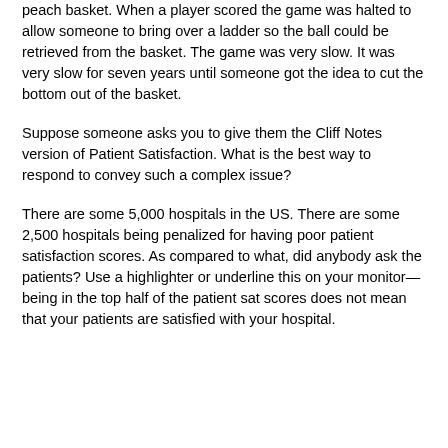peach basket. When a player scored the game was halted to allow someone to bring over a ladder so the ball could be retrieved from the basket. The game was very slow. It was very slow for seven years until someone got the idea to cut the bottom out of the basket.
Suppose someone asks you to give them the Cliff Notes version of Patient Satisfaction. What is the best way to respond to convey such a complex issue?
There are some 5,000 hospitals in the US. There are some 2,500 hospitals being penalized for having poor patient satisfaction scores. As compared to what, did anybody ask the patients? Use a highlighter or underline this on your monitor—being in the top half of the patient sat scores does not mean that your patients are satisfied with your hospital.